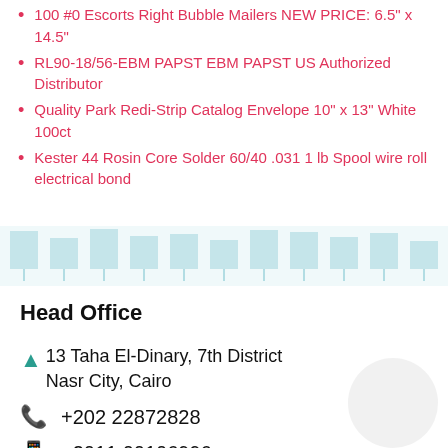100 #0 Escorts Right Bubble Mailers NEW PRICE: 6.5" x 14.5"
RL90-18/56-EBM PAPST EBM PAPST US Authorized Distributor
Quality Park Redi-Strip Catalog Envelope 10" x 13" White 100ct
Kester 44 Rosin Core Solder 60/40 .031 1 lb Spool wire roll electrical bond
[Figure (bar-chart): Decorative bar chart strip at bottom of list section, light teal/blue bars]
Head Office
13 Taha El-Dinary, 7th District
Nasr City, Cairo
+202 22872828
+2011 00106996